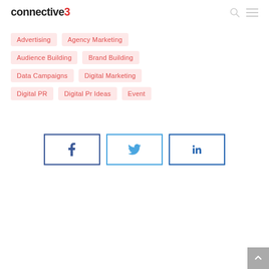connective3
Advertising
Agency Marketing
Audience Building
Brand Building
Data Campaigns
Digital Marketing
Digital PR
Digital Pr Ideas
Event
[Figure (other): Social share buttons: Facebook, Twitter, LinkedIn]